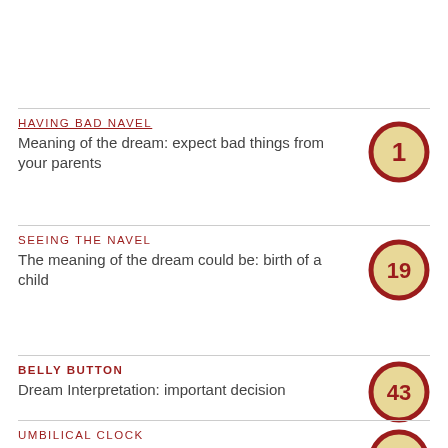HAVING BAD NAVEL
Meaning of the dream: expect bad things from your parents
[1]
SEEING THE NAVEL
The meaning of the dream could be: birth of a child
[19]
BELLY BUTTON
Dream Interpretation: important decision
[43]
UMBILICAL CLOCK
[18]